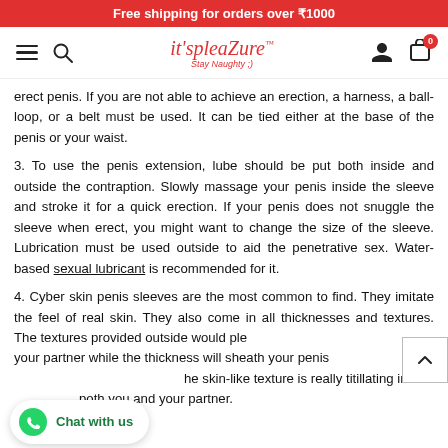Free shipping for orders over ₹1000
[Figure (logo): it'spleaZure Stay Naughty ;) logo in red italic font with hamburger menu, search icon, user icon, and cart icon with badge 0]
erect penis. If you are not able to achieve an erection, a harness, a ball-loop, or a belt must be used. It can be tied either at the base of the penis or your waist.
3. To use the penis extension, lube should be put both inside and outside the contraption. Slowly massage your penis inside the sleeve and stroke it for a quick erection. If your penis does not snuggle the sleeve when erect, you might want to change the size of the sleeve. Lubrication must be used outside to aid the penetrative sex. Water-based sexual lubricant is recommended for it.
4. Cyber skin penis sleeves are the most common to find. They imitate the feel of real skin. They also come in all thicknesses and textures. The textures provided outside would please your partner while the thickness will sheath your penis. The skin-like texture is really titillating in the both you and your partner.
Tips and Precautionary…